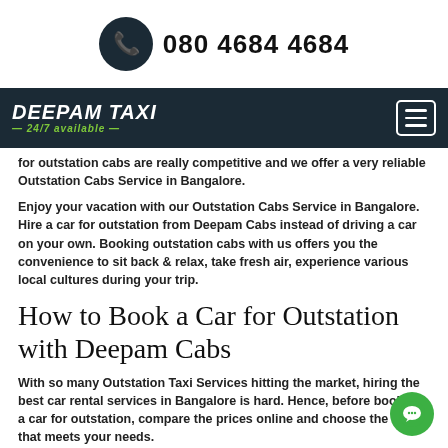080 4684 4684
[Figure (logo): Deepam Taxi 24/7 available logo on dark background with hamburger menu icon]
for outstation cabs are really competitive and we offer a very reliable Outstation Cabs Service in Bangalore.
Enjoy your vacation with our Outstation Cabs Service in Bangalore. Hire a car for outstation from Deepam Cabs instead of driving a car on your own. Booking outstation cabs with us offers you the convenience to sit back & relax, take fresh air, experience various local cultures during your trip.
How to Book a Car for Outstation with Deepam Cabs
With so many Outstation Taxi Services hitting the market, hiring the best car rental services in Bangalore is hard. Hence, before booking a car for outstation, compare the prices online and choose the one that meets your needs.
Deepam Cabs are your one-stop destination for booking